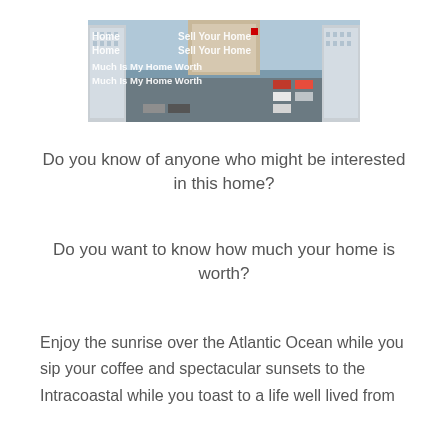[Figure (photo): Aerial/street-level view of coastal condominiums with parking lot and road, overlaid with white text menu items: Home, Sell Your Home, Sell Your Home, Much Is My Home Worth, Much Is My Home Worth]
Do you know of anyone who might be interested in this home?
Do you want to know how much your home is worth?
Enjoy the sunrise over the Atlantic Ocean while you sip your coffee and spectacular sunsets to the Intracoastal while you toast to a life well lived from